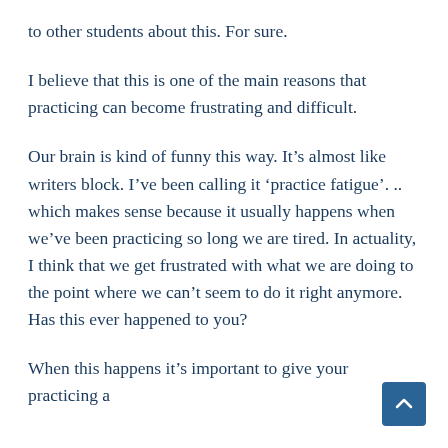to other students about this. For sure.
I believe that this is one of the main reasons that practicing can become frustrating and difficult.
Our brain is kind of funny this way. It’s almost like writers block. I’ve been calling it ‘practice fatigue’. .. which makes sense because it usually happens when we’ve been practicing so long we are tired. In actuality, I think that we get frustrated with what we are doing to the point where we can’t seem to do it right anymore. Has this ever happened to you?
When this happens it’s important to give your practicing a